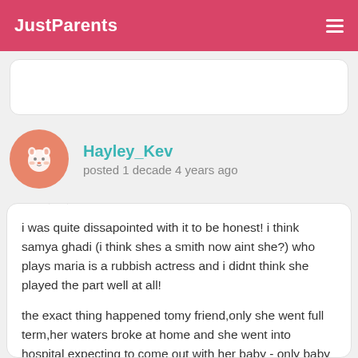JustParents
Hayley_Kev
posted 1 decade 4 years ago
i was quite dissapointed with it to be honest! i think samya ghadi (i think shes a smith now aint she?) who plays maria is a rubbish actress and i didnt think she played the part well at all!

the exact thing happened tomy friend,only she went full term,her waters broke at home and she went into hospital expecting to come out with her baby - only baby was stillborn.the only thing that got her thru that was having her other 2 sons years later - she suffered severe depression and everything up till her other son was